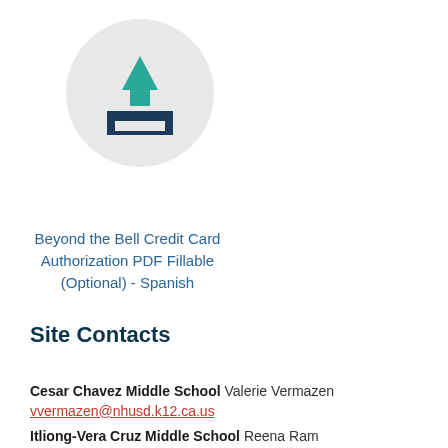[Figure (illustration): Download icon: teal downward arrow above a dark navy tray/platform, inside a light gray circle]
Beyond the Bell Credit Card Authorization PDF Fillable (Optional) - Spanish
Site Contacts
Cesar Chavez Middle School Valerie Vermazen vvermazen@nhusd.k12.ca.us
Itliong-Vera Cruz Middle School Reena Ram